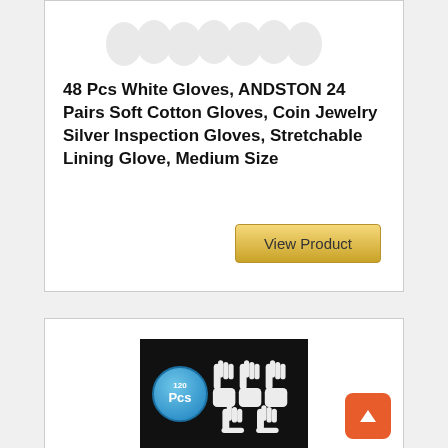[Figure (photo): White cotton gloves product image placeholder (light gray glove icons on white background)]
48 Pcs White Gloves, ANDSTON 24 Pairs Soft Cotton Gloves, Coin Jewelry Silver Inspection Gloves, Stretchable Lining Glove, Medium Size
View Product
[Figure (photo): Product image showing 120 Pcs white gloves on a black background with a blue circular badge reading 120 Pcs]